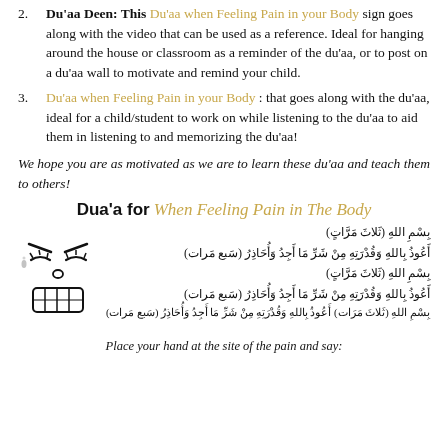2. Du'aa Deen: This Du'aa when Feeling Pain in your Body sign goes along with the video that can be used as a reference. Ideal for hanging around the house or classroom as a reminder of the du'aa, or to post on a du'aa wall to motivate and remind your child.
3. Du'aa when Feeling Pain in your Body : that goes along with the du'aa, ideal for a child/student to work on while listening to the du'aa to aid them in listening to and memorizing the du'aa!
We hope you are as motivated as we are to learn these du'aa and teach them to others!
[Figure (illustration): Dua'a for When Feeling Pain in The Body card with Arabic text of the du'aa, an illustration of a cartoon face showing pain/gritting teeth, and the instruction 'Place your hand at the site of the pain and say:']